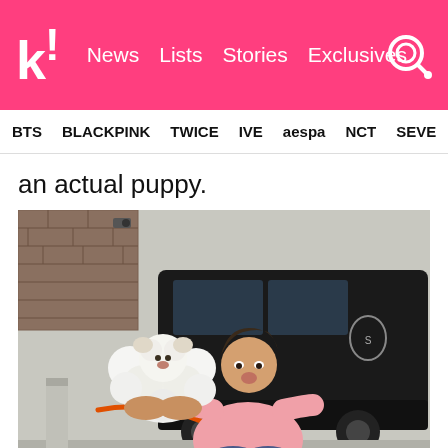k! News Lists Stories Exclusives
BTS BLACKPINK TWICE IVE aespa NCT SEVE
an actual puppy.
[Figure (photo): A young man in a pink hoodie sitting outdoors, holding up a fluffy white Pomeranian dog with an orange/red leash, puckering his lips toward the dog as if kissing it. A black van is parked behind him, and a brick wall is visible in the background.]